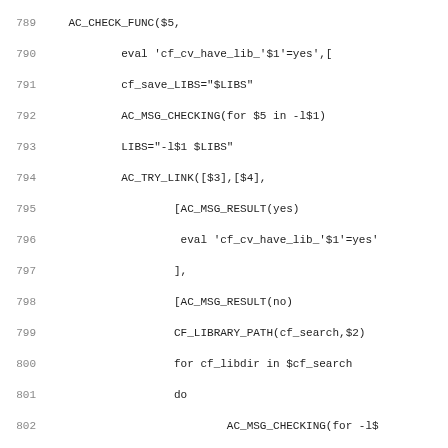Source code listing, lines 789-821, shell/autoconf script